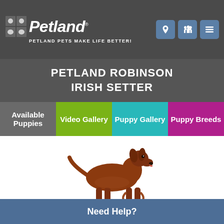[Figure (logo): Petland logo with dog icon and tagline 'PETLAND PETS MAKE LIFE BETTER!']
PETLAND ROBINSON
IRISH SETTER
Available Puppies
Video Gallery
Puppy Gallery
Puppy Breeds
[Figure (photo): Irish Setter dog standing, full body view, mahogany red coat, white background]
Need Help?